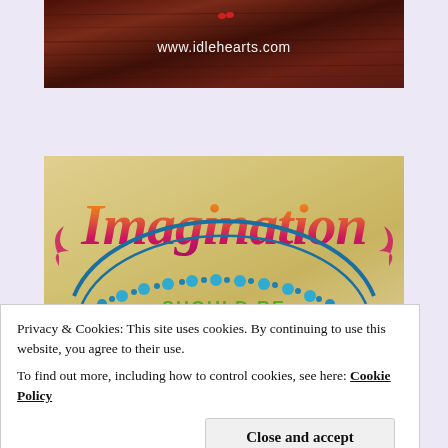[Figure (illustration): Dark reddish-brown wood grain background banner with white text 'www.idlehearts.com' and small red decorative element above]
[Figure (illustration): Colorful vintage-style typography illustration showing the word 'Imagination' in large orange-to-pink gradient decorative font, with a blue circular dotted/beaded border arc below it, and green text 'SHOULD BE' inside the arc on a parchment/aged paper background]
Privacy & Cookies: This site uses cookies. By continuing to use this website, you agree to their use.
To find out more, including how to control cookies, see here: Cookie Policy
[Figure (illustration): Partial view of another colorful vintage-style illustration at the bottom of the page, partially cut off]